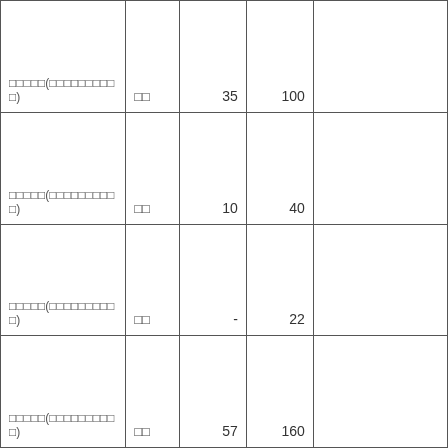| □□□□□(□□□□□□□□□) | □□ | 35 | 100 |  |
| □□□□□(□□□□□□□□□) | □□ | 10 | 40 |  |
| □□□□□(□□□□□□□□□) | □□ | - | 22 |  |
| □□□□□(□□□□□□□□□) | □□ | 57 | 160 |  |